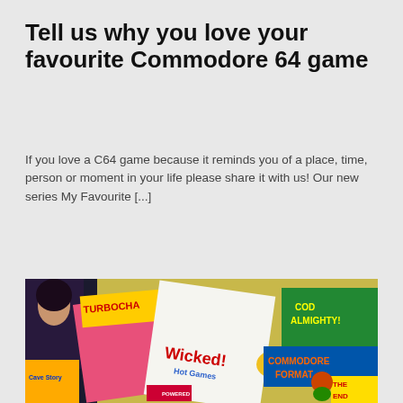Tell us why you love your favourite Commodore 64 game
If you love a C64 game because it reminds you of a place, time, person or moment in your life please share it with us! Our new series My Favourite [...]
[Figure (photo): A spread of Commodore 64 related magazines scattered on a surface, including issues showing 'Wicked!', 'Hot Games', 'TURBOCHA', 'COD ALMIGHTY!', 'COMMODORE FORMAT', 'THE END' and other colorful retro gaming magazine covers.]